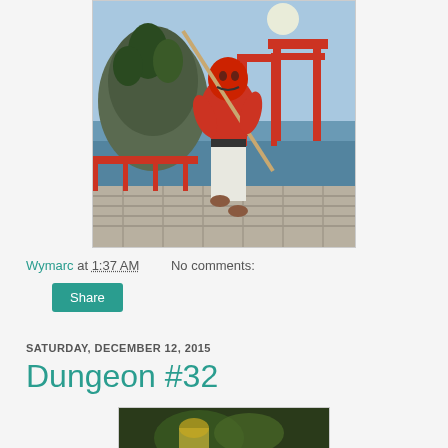[Figure (illustration): Fantasy martial arts illustration: a red-skinned muscular demon/oni figure in white gi and black belt wielding a staff on a wooden dock/pier, with Japanese torii gates, rocky islands, blue water and a full moon in the background.]
Wymarc at 1:37 AM    No comments:
Share
SATURDAY, DECEMBER 12, 2015
Dungeon #32
[Figure (illustration): Partial view of another illustration at the bottom of the page, mostly cut off.]